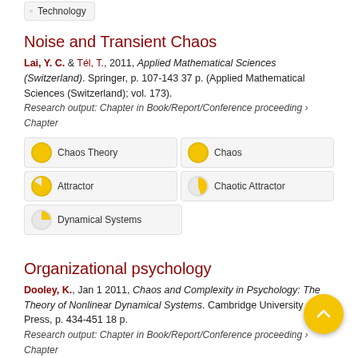Technology
Noise and Transient Chaos
Lai, Y. C. & Tél, T., 2011, Applied Mathematical Sciences (Switzerland). Springer, p. 107-143 37 p. (Applied Mathematical Sciences (Switzerland); vol. 173).
Research output: Chapter in Book/Report/Conference proceeding › Chapter
Chaos Theory
Chaos
Attractor
Chaotic Attractor
Dynamical Systems
Organizational psychology
Dooley, K., Jan 1 2011, Chaos and Complexity in Psychology: The Theory of Nonlinear Dynamical Systems. Cambridge University Press, p. 434-451 18 p.
Research output: Chapter in Book/Report/Conference proceeding › Chapter